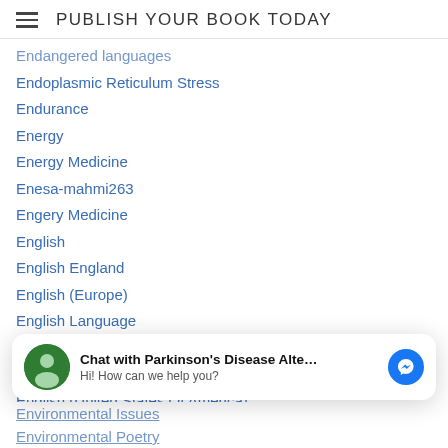PUBLISH YOUR BOOK TODAY
Endangered languages
Endoplasmic Reticulum Stress
Endurance
Energy
Energy Medicine
Enesa-mahmi263
Engery Medicine
English
English England
English (Europe)
English Language
English (North America)
English Peace
English (United States Of America)
[Figure (other): Chat widget: avatar with green circle, text 'Chat with Parkinson's Disease Alte...' and subtitle 'Hi! How can we help you?', blue Messenger icon]
Environmental Issues
Environmental Poetry